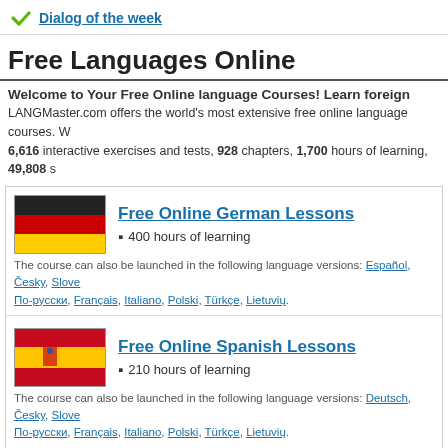Dialog of the week
Free Languages Online
Welcome to Your Free Online language Courses! Learn foreign languages online for free.
LANGMaster.com offers the world's most extensive free online language courses. We offer 6,616 interactive exercises and tests, 928 chapters, 1,700 hours of learning, 49,808 sentences.
Free Online German Lessons
400 hours of learning
The course can also be launched in the following language versions: Español, Česky, Slovensky, По-русски, Français, Italiano, Polski, Türkçe, Lietuvių.
Free Online Spanish Lessons
210 hours of learning
The course can also be launched in the following language versions: Deutsch, Česky, Slovensky, По-русски, Français, Italiano, Polski, Türkçe, Lietuvių.
Free Online Italian Lessons
240 hours of learning
The course can also be launched in the following language versions: Deutsch, Español, Česky, Slovensky, По-русски, Français, Polski, Türkçe, Lietuvių.